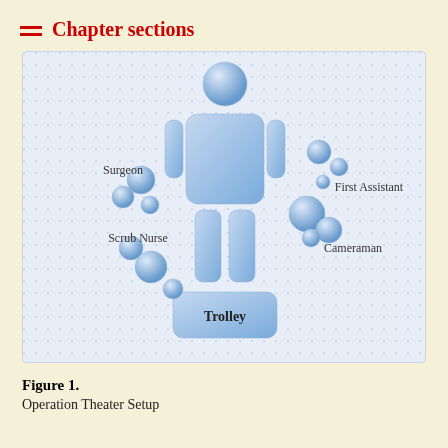Chapter sections
[Figure (infographic): Operation theater setup diagram showing a human body outline made of blue rounded rectangles in the center, surrounded by blue circles representing different surgical team members: Surgeon (left side, upper), Scrub Nurse (left side, lower), First Assistant (right side, upper), Cameraman (right side, lower), and a Trolley labeled rectangle at the bottom.]
Figure 1.
Operation Theater Setup